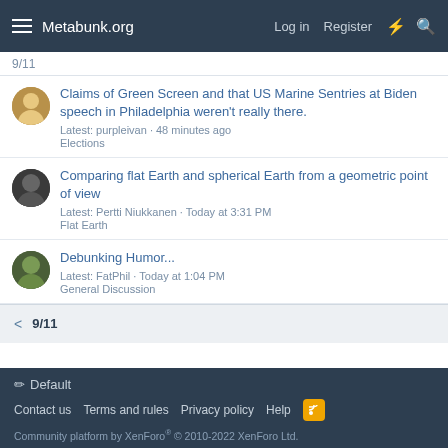Metabunk.org  Log in  Register
9/11
Claims of Green Screen and that US Marine Sentries at Biden speech in Philadelphia weren't really there.
Latest: purpleivan · 48 minutes ago
Elections
Comparing flat Earth and spherical Earth from a geometric point of view
Latest: Pertti Niukkanen · Today at 3:31 PM
Flat Earth
Debunking Humor...
Latest: FatPhil · Today at 1:04 PM
General Discussion
< 9/11
✏ Default
Contact us  Terms and rules  Privacy policy  Help
Community platform by XenForo® © 2010-2022 XenForo Ltd.